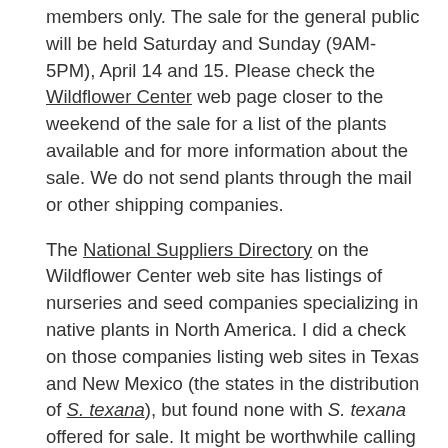members only. The sale for the general public will be held Saturday and Sunday (9AM-5PM), April 14 and 15. Please check the Wildflower Center web page closer to the weekend of the sale for a list of the plants available and for more information about the sale. We do not send plants through the mail or other shipping companies.
The National Suppliers Directory on the Wildflower Center web site has listings of nurseries and seed companies specializing in native plants in North America. I did a check on those companies listing web sites in Texas and New Mexico (the states in the distribution of S. texana), but found none with S. texana offered for sale. It might be worthwhile calling those without web site listings to see if they carry it. You might also find a source by contacting the Native Plant Society of Texas and the Native Plant Society of New Mexico.
April is the premier time for viewing wildflowers in Central Texas. Why not plan a trip to the Lady Bird Johnson Wildflower Center for our Spring Sale to purchase Salvia